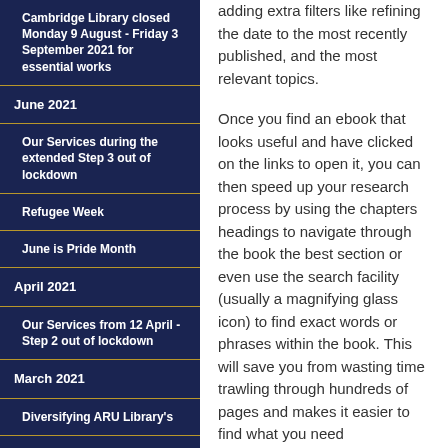Cambridge Library closed Monday 9 August - Friday 3 September 2021 for essential works
June 2021
Our Services during the extended Step 3 out of lockdown
Refugee Week
June is Pride Month
April 2021
Our Services from 12 April - Step 2 out of lockdown
March 2021
Diversifying ARU Library's
adding extra filters like refining the date to the most recently published, and the most relevant topics.
Once you find an ebook that looks useful and have clicked on the links to open it, you can then speed up your research process by using the chapters headings to navigate through the book the best section or even use the search facility (usually a magnifying glass icon) to find exact words or phrases within the book. This will save you from wasting time trawling through hundreds of pages and makes it easier to find what you need